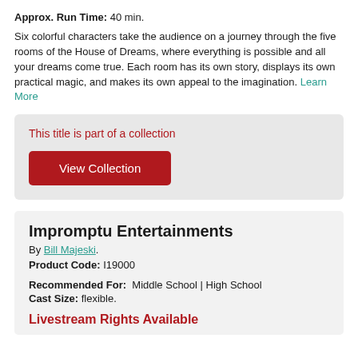Approx. Run Time: 40 min.
Six colorful characters take the audience on a journey through the five rooms of the House of Dreams, where everything is possible and all your dreams come true. Each room has its own story, displays its own practical magic, and makes its own appeal to the imagination. Learn More
This title is part of a collection
View Collection
Impromptu Entertainments
By Bill Majeski.
Product Code: I19000
Recommended For:  Middle School | High School
Cast Size: flexible.
Livestream Rights Available